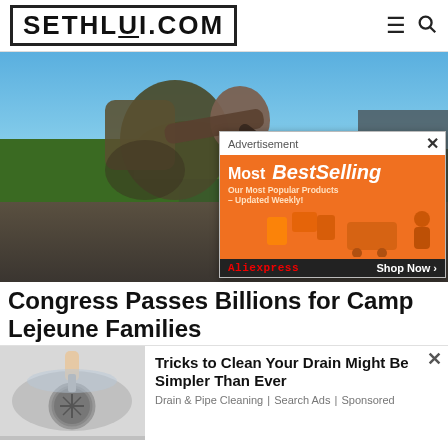SETHLUI.COM
[Figure (photo): Soldier in camouflage uniform covered in mud, bending over and drinking from or working with a hose outdoors. Background shows blue sky and green trees.]
[Figure (screenshot): Advertisement overlay showing 'Most BestSelling - Our Most Popular Products Updated Weekly!' on orange background with shopping icons and AliExpress branding and 'Shop Now' button.]
Congress Passes Billions for Camp Lejeune Families
[Figure (photo): Close-up of a hand using a tool to clean a metal drain in a sink.]
Tricks to Clean Your Drain Might Be Simpler Than Ever
Drain & Pipe Cleaning | Search Ads | Sponsored